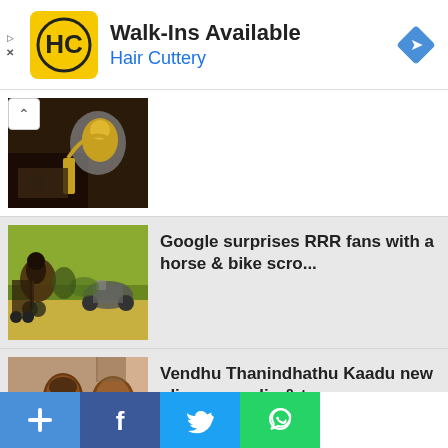[Figure (screenshot): Hair Cuttery advertisement banner: yellow HC logo, 'Walk-Ins Available' bold text, 'Hair Cuttery' in blue, blue diamond nav icon top right, small play and X icons on left]
[Figure (photo): Partial thumbnail of a person with keys, yellow gloves]
[Figure (photo): Thumbnail of horse and bicycle scene from RRR movie]
Google surprises RRR fans with a horse & bike scro...
[Figure (photo): Thumbnail of two people with flame emoji - Vendhu Thanindhathu Kaadu]
Vendhu Thanindhathu Kaadu new glimpse, audio & tra...
[Figure (photo): Partial thumbnail with colorful pattern - Viruman Video Songs]
Viruman Video Songs feat. Karthi, Aditi
[Figure (screenshot): Bottom social sharing bar with four colored buttons: blue plus, Facebook, Twitter (blue bird), WhatsApp (green)]